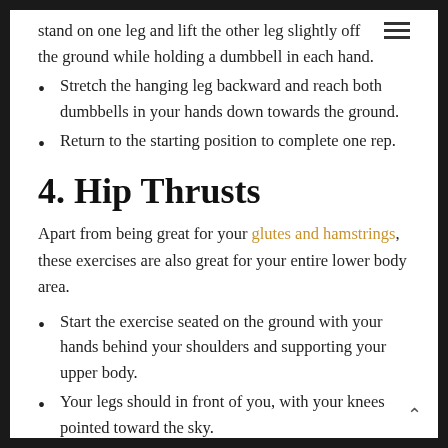stand on one leg and lift the other leg slightly off the ground while holding a dumbbell in each hand.
Stretch the hanging leg backward and reach both dumbbells in your hands down towards the ground.
Return to the starting position to complete one rep.
4. Hip Thrusts
Apart from being great for your glutes and hamstrings, these exercises are also great for your entire lower body area.
Start the exercise seated on the ground with your hands behind your shoulders and supporting your upper body.
Your legs should in front of you, with your knees pointed toward the sky.
Lift your hips up toward the ceiling so your body forms a table supported by your arms and legs.
Hold the position at the top of the movement for about two seconds, and return to the starting position.